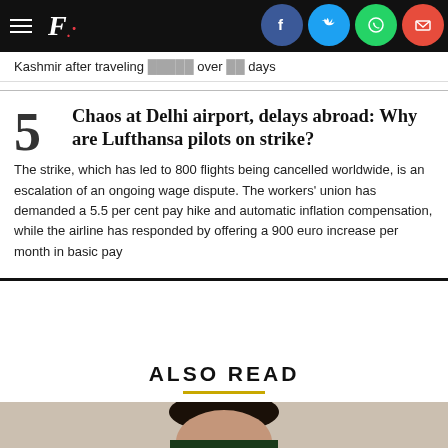F. [logo with social share icons: Facebook, Twitter, WhatsApp, Email]
Kashmir after traveling [partially visible text] over [X] days
5 Chaos at Delhi airport, delays abroad: Why are Lufthansa pilots on strike? The strike, which has led to 800 flights being cancelled worldwide, is an escalation of an ongoing wage dispute. The workers' union has demanded a 5.5 per cent pay hike and automatic inflation compensation, while the airline has responded by offering a 900 euro increase per month in basic pay
ALSO READ
[Figure (photo): Photo of a woman with dark hair in a bun, wearing a dark green outfit, against a light background]